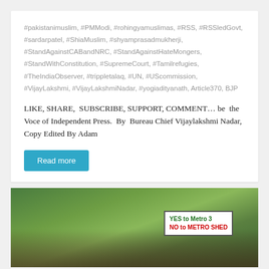#pakistanimuslim, #PMModi, #rohingyamuslimas, #RSS, #RSSledGovt, #sardarpatel, #ShiaMuslim, #shyamprasadmukherji, #StandAgainstCABandNRC, #StandAgainstHateMongers, #StandWithConstitution, #SupremeCourt, #Tamilrefugies, #TheIndiaObserver, #trippletalaq, #UN, #UScommission, #VijayLakshmi, #VijayLakshmiNadar, #yogiadityanath, Article370, BJP
LIKE, SHARE, SUBSCRIBE, SUPPORT, COMMENT... be the Voce of Independent Press. By Bureau Chief Vijaylakshmi Nadar, Copy Edited By Adam
Read more
[Figure (photo): Protest photo showing crowd of people holding signs including one that reads YES to Metro 3, NO to METRO SHED, against a background of green trees]